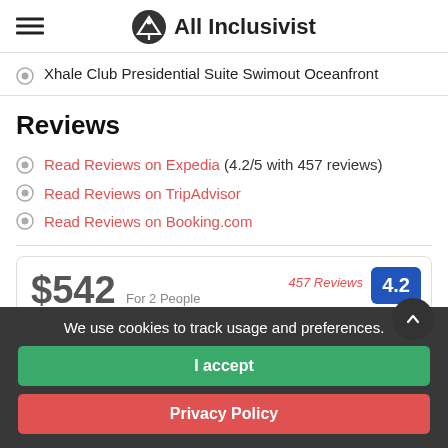All Inclusivist
Xhale Club Presidential Suite Swimout Oceanfront
Reviews
Read Reviews on Expedia (4.2/5 with 457 reviews)
Read Reviews on TripAdvisor
Read Reviews on Booking.com
$542  For 2 People  457 Reviews  4.2
We use cookies to track usage and preferences.
I accept
Privacy Policy
Select dates...